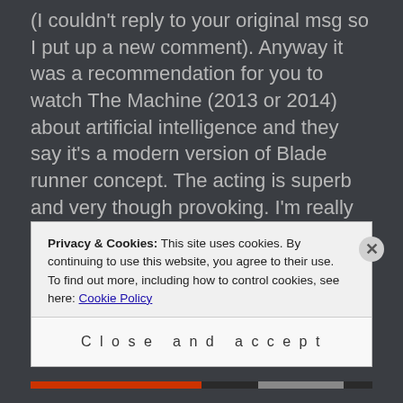(I couldn't reply to your original msg so I put up a new comment). Anyway it was a recommendation for you to watch The Machine (2013 or 2014) about artificial intelligence and they say it's a modern version of Blade runner concept. The acting is superb and very though provoking. I'm really happy to hear you liked my writing on Dreams- sometimes I think the simplest things that stare us in the face
Privacy & Cookies: This site uses cookies. By continuing to use this website, you agree to their use.
To find out more, including how to control cookies, see here: Cookie Policy
Close and accept